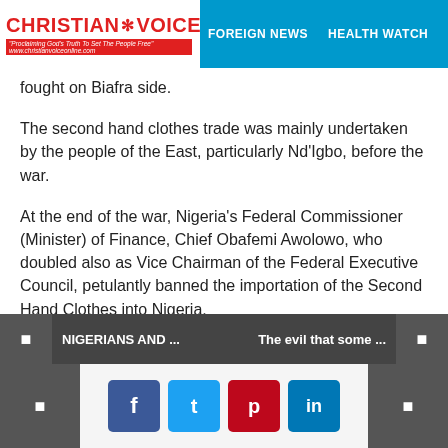CHRISTIAN VOICE | FOREIGN NEWS | HEALTH WATCH
fought on Biafra side.
The second hand clothes trade was mainly undertaken by the people of the East, particularly Nd'Igbo, before the war.
At the end of the war, Nigeria's Federal Commissioner (Minister) of Finance, Chief Obafemi Awolowo, who doubled also as Vice Chairman of the Federal Executive Council, petulantly banned the importation of the Second Hand Clothes into Nigeria.
Surely it was undignifying to have to wear used clothes
NIGERIANS AND ... | The evil that some ...